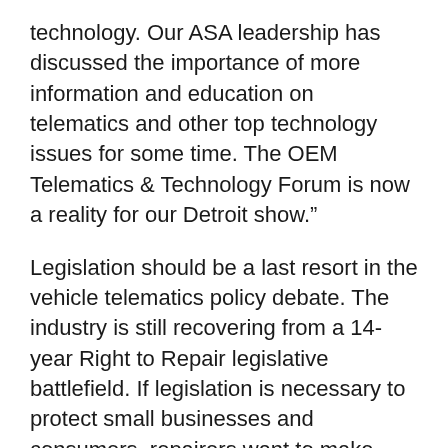technology. Our ASA leadership has discussed the importance of more information and education on telematics and other top technology issues for some time. The OEM Telematics & Technology Forum is now a reality for our Detroit show."
Legislation should be a last resort in the vehicle telematics policy debate. The industry is still recovering from a 14-year Right to Repair legislative battlefield. If legislation is necessary to protect small businesses and consumers, repairers want to make sure that the bill addresses the appropriate concerns. It is far too early to determine what if any issues exist for repairers in the telematics debate. It is evident that the automakers are still determining the extent of the role of telematics in vehicle technology.